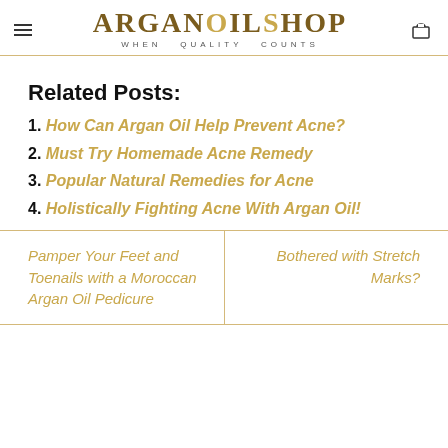ARGANOILSHOP WHEN QUALITY COUNTS
Related Posts:
1. How Can Argan Oil Help Prevent Acne?
2. Must Try Homemade Acne Remedy
3. Popular Natural Remedies for Acne
4. Holistically Fighting Acne With Argan Oil!
Pamper Your Feet and Toenails with a Moroccan Argan Oil Pedicure
Bothered with Stretch Marks?